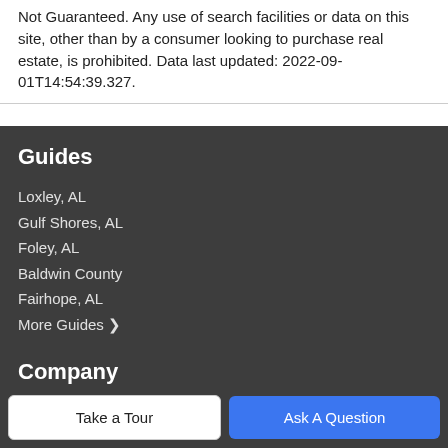Not Guaranteed. Any use of search facilities or data on this site, other than by a consumer looking to purchase real estate, is prohibited. Data last updated: 2022-09-01T14:54:39.327.
Guides
Loxley, AL
Gulf Shores, AL
Foley, AL
Baldwin County
Fairhope, AL
More Guides >
Company
Meet The Team
Our Blog
Take a Tour
Ask A Question